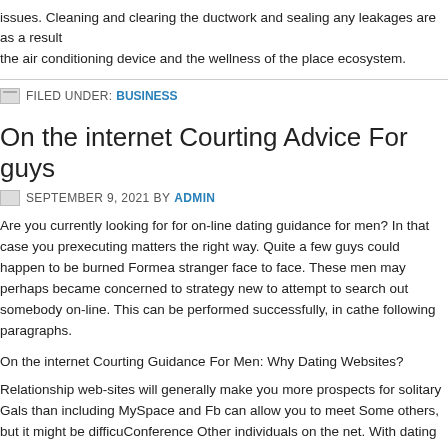issues. Cleaning and clearing the ductwork and sealing any leakages are as a result the air conditioning device and the wellness of the place ecosystem.
FILED UNDER: BUSINESS
On the internet Courting Advice For guys
SEPTEMBER 9, 2021 BY ADMIN
Are you currently looking for for on-line dating guidance for men? In that case you probably executing matters the right way. Quite a few guys could happen to be burned Former a stranger face to face. These men may perhaps became concerned to strategy new to attempt to search out somebody on-line. This can be performed successfully, in ca the following paragraphs.
On the internet Courting Guidance For Men: Why Dating Websites?
Relationship web-sites will generally make you more prospects for solitary Gals than including MySpace and Fb can allow you to meet Some others, but it might be difficu Conference Other individuals on the net. With dating web-sites, you already know qu her profile, as most sites give the choice to Display screen this information. If you are expression connection, It will probably be simpler so that you can contact Girls who h relationship.